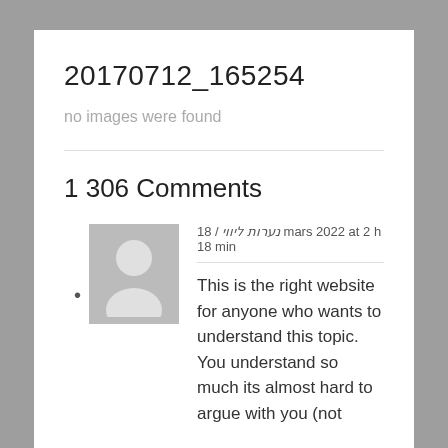20170712_165254
no images were found
1 306 Comments
18 / נערות ליווי mars 2022 at 2 h 18 min
This is the right website for anyone who wants to understand this topic. You understand so much its almost hard to argue with you (not